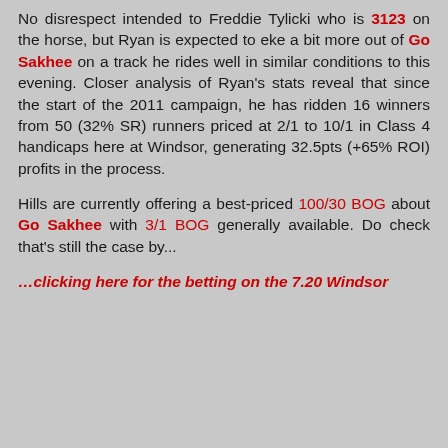No disrespect intended to Freddie Tylicki who is 3123 on the horse, but Ryan is expected to eke a bit more out of Go Sakhee on a track he rides well in similar conditions to this evening. Closer analysis of Ryan's stats reveal that since the start of the 2011 campaign, he has ridden 16 winners from 50 (32% SR) runners priced at 2/1 to 10/1 in Class 4 handicaps here at Windsor, generating 32.5pts (+65% ROI) profits in the process.
Hills are currently offering a best-priced 100/30 BOG about Go Sakhee with 3/1 BOG generally available. Do check that's still the case by...
…clicking here for the betting on the 7.20 Windsor